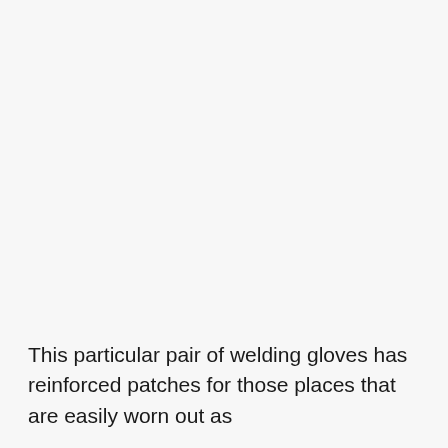[Figure (photo): Photograph of welding gloves, mostly white/light area suggesting a faded or blank image region at the top of the page.]
This particular pair of welding gloves has reinforced patches for those places that are easily worn out as